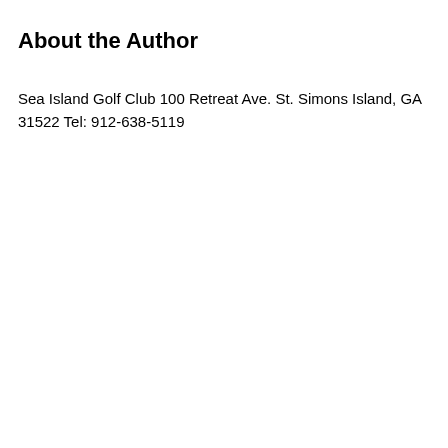About the Author
Sea Island Golf Club 100 Retreat Ave. St. Simons Island, GA 31522 Tel: 912-638-5119